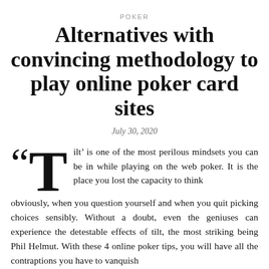POKER
Alternatives with convincing methodology to play online poker card sites
July 30, 2020
Tilt' is one of the most perilous mindsets you can be in while playing on the web poker. It is the place you lost the capacity to think obviously, when you question yourself and when you quit picking choices sensibly. Without a doubt, even the geniuses can experience the detestable effects of tilt, the most striking being Phil Helmut. With these 4 online poker tips, you will have all the contraptions you have to vanquish